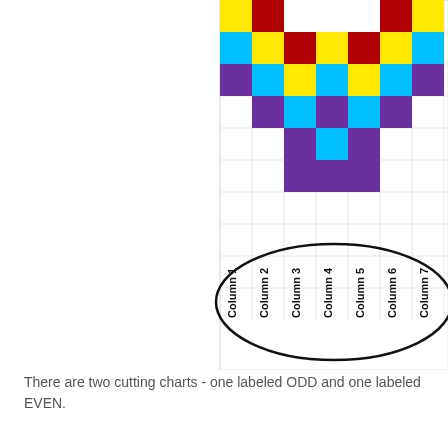[Figure (illustration): A colorful pixel/quilt grid pattern showing a heart or decorative shape made with colored squares (yellow, red, cyan, purple, white) arranged in rows and columns. Below the grid, the column labels (Column 1 through Column 7) are shown vertically rotated, circled with a hand-drawn oval.]
There are two cutting charts - one labeled ODD and one labeled EVEN.